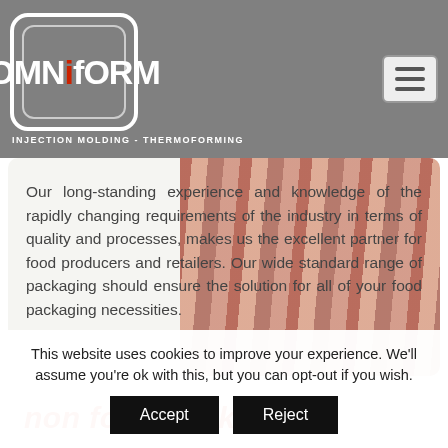[Figure (logo): OmnifORM logo with rounded square border, red lowercase 'f', tagline INJECTION MOLDING - THERMOFORMING, hamburger menu icon]
Our long-standing experience and knowledge of the rapidly changing requirements of the industry in terms of quality and processes, makes us the excellent partner for food producers and retailers. Our wide standard range of packaging should ensure the solution for all of your food packaging necessities.
non food packaging
This website uses cookies to improve your experience. We'll assume you're ok with this, but you can opt-out if you wish.